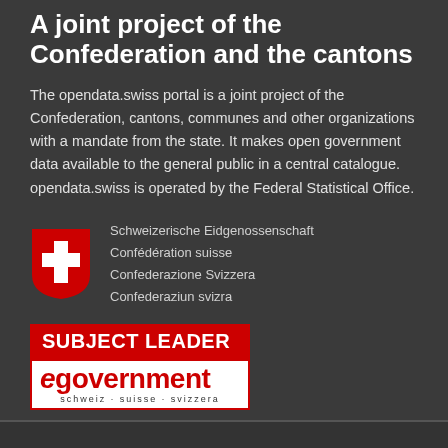A joint project of the Confederation and the cantons
The opendata.swiss portal is a joint project of the Confederation, cantons, communes and other organizations with a mandate from the state. It makes open government data available to the general public in a central catalogue. opendata.swiss is operated by the Federal Statistical Office.
[Figure (logo): Swiss Confederation coat of arms shield (red with white cross) alongside four-language text: Schweizerische Eidgenossenschaft, Confédération suisse, Confederazione Svizzera, Confederaziun svizra]
[Figure (logo): eGovernment Subject Leader badge: red banner reading SUBJECT LEADER above white box with red 'egovernment' logotype and 'schweiz·suisse·svizzera' tagline]